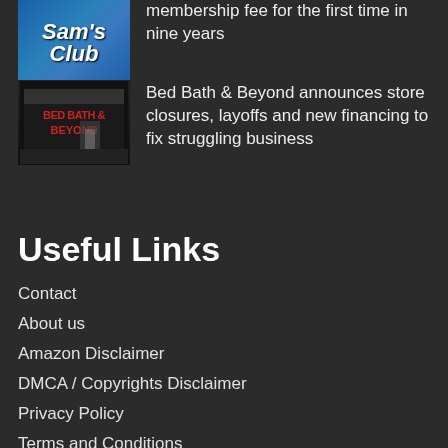[Figure (photo): Sam's Club sign/logo thumbnail]
membership fee for the first time in nine years
[Figure (photo): Bed Bath & Beyond store front thumbnail]
Bed Bath & Beyond announces store closures, layoffs and new financing to fix struggling business
Useful Links
Contact
About us
Amazon Disclaimer
DMCA / Copyrights Disclaimer
Privacy Policy
Terms and Conditions